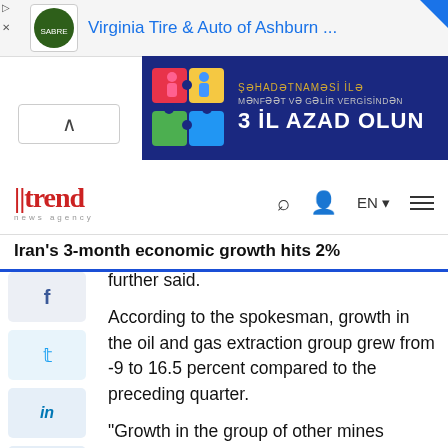[Figure (other): Virginia Tire & Auto of Ashburn advertisement banner with logo]
[Figure (other): Blue advertisement banner in Azerbaijani: 'Şəhadətnaməsi ilə mənfəət və gəlir vergisindən 3 IL AZAD OLUN' with puzzle piece illustration]
[Figure (other): Trend News Agency navigation header with logo, search icon, user icon, EN language selector, and hamburger menu]
Iran's 3-month economic growth hits 2%
further said.
According to the spokesman, growth in the oil and gas extraction group grew from -9 to 16.5 percent compared to the preceding quarter.
"Growth in the group of other mines plunged from -2.7 to -7.5, however," he said, adding, "The procurement of water, electricity, and natural gas improved from -1.1 to 7.9 percent."